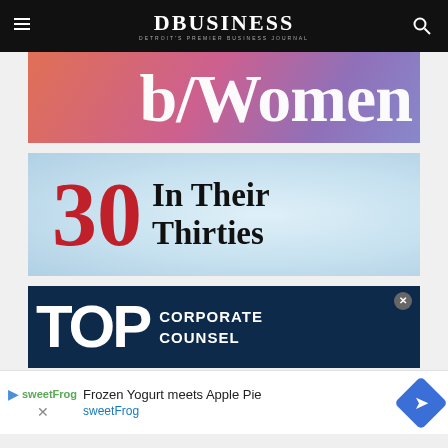DBusiness — Detroit's Premier Business Journal
[Figure (illustration): Cropped image showing partial text 'b/Women' in white serif font on a gradient background of orange, pink, and purple]
[Figure (illustration): 30 In Their Thirties promotional banner: large red '30' numeral and bold black 'In Their Thirties' text on a light blue dotted gradient background]
[Figure (illustration): Top Corporate Counsel promotional banner: large white 'TOP' text and 'CORPORATE COUNSEL' in white on dark navy background]
Frozen Yogurt meets Apple Pie
sweetFrog